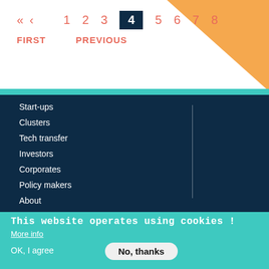« ‹ 1 2 3 4 5 6 7 8
FIRST   PREVIOUS
Start-ups
Clusters
Tech transfer
Investors
Corporates
Policy makers
About
Society
This website operates using cookies !
More info
OK, I agree
No, thanks